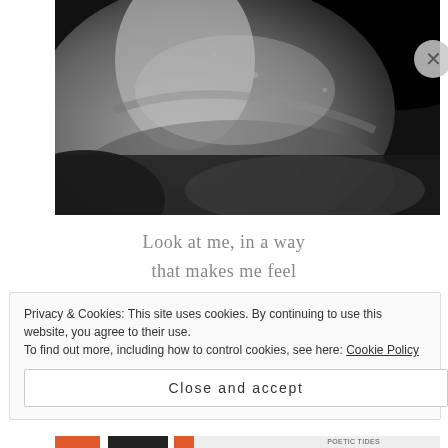[Figure (photo): Black and white close-up photograph of human skin/shoulder/neck area, high contrast monochrome]
Look at me, in a way
that makes me feel
like you have ripped
Privacy & Cookies: This site uses cookies. By continuing to use this website, you agree to their use.
To find out more, including how to control cookies, see here: Cookie Policy
Close and accept